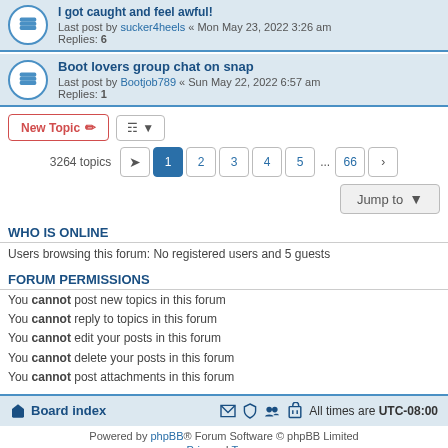I got caught and feel awful — Last post by sucker4heels « Mon May 23, 2022 3:26 am — Replies: 6
Boot lovers group chat on snap — Last post by Bootjob789 « Sun May 22, 2022 6:57 am — Replies: 1
New Topic | Sort | 3264 topics | Pages 1 2 3 4 5 ... 66
Jump to
WHO IS ONLINE
Users browsing this forum: No registered users and 5 guests
FORUM PERMISSIONS
You cannot post new topics in this forum
You cannot reply to topics in this forum
You cannot edit your posts in this forum
You cannot delete your posts in this forum
You cannot post attachments in this forum
Board index — All times are UTC-08:00 — Powered by phpBB® Forum Software © phpBB Limited — Privacy | Terms